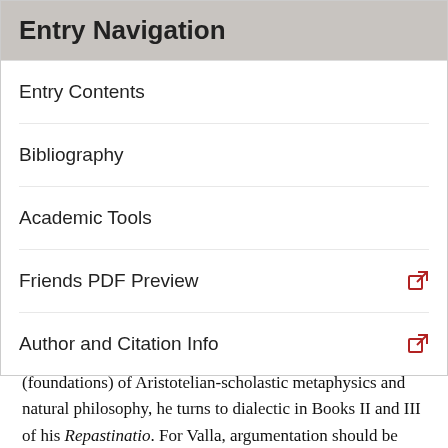Entry Navigation
Entry Contents
Bibliography
Academic Tools
Friends PDF Preview
Author and Citation Info
Aristotelian Logic
After Valla's attack on what he calls the fundamenta (foundations) of Aristotelian-scholastic metaphysics and natural philosophy, he turns to dialectic in Books II and III of his Repastinatio. For Valla, argumentation should be approached from an oratorical rather than a logical point of view. What counts is whether an argument works, which means whether it convinces one's adversary or public. The form of the argument is less important. Dialectic is a species of confirmation and refutation; and, as such, it is merely a component of invention, one of the